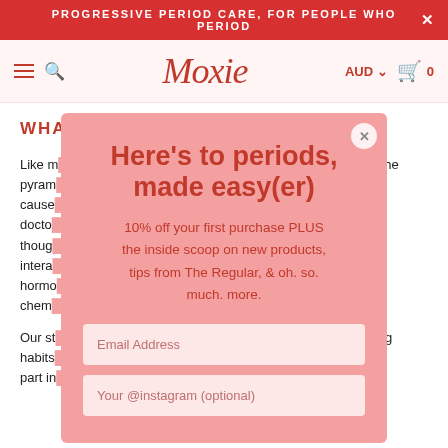PROGRESSIVE PERIOD CARE, FOR PEOPLE WHO PERIOD
[Figure (logo): Moxie logo with hamburger menu, search icon, AUD currency selector, and cart with 0 items]
WHAT CAUSES PMS?
Like m... the pyramid... cause... doctor... though... t interact... hormo... d chem...
Our st... ng habits... y a part in...
[Figure (screenshot): Modal popup with pink background. Headline: Here's to periods, made easy(er). Subtext: 10% off your first purchase PLUS the inside scoop on new products, tips from The Regular, & oh. so. much. more. Two input fields: Email Address and Your @instagram (optional). Close button top right.]